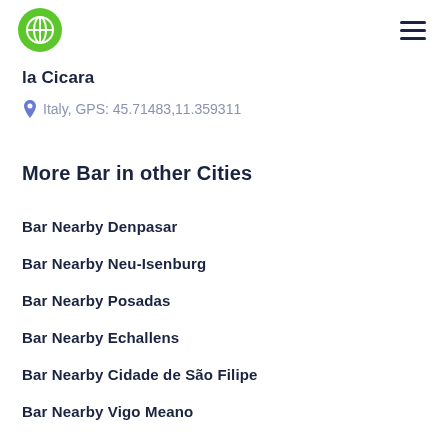la Cicara — logo and menu
la Cicara
Italy, GPS: 45.71483,11.359311
More Bar in other Cities
Bar Nearby Denpasar
Bar Nearby Neu-Isenburg
Bar Nearby Posadas
Bar Nearby Echallens
Bar Nearby Cidade de São Filipe
Bar Nearby Vigo Meano